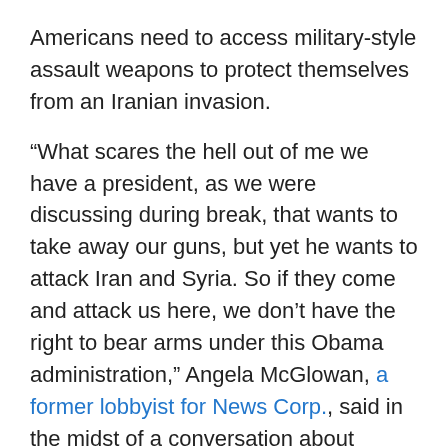Americans need to access military-style assault weapons to protect themselves from an Iranian invasion.
“What scares the hell out of me we have a president, as we were discussing during break, that wants to take away our guns, but yet he wants to attack Iran and Syria. So if they come and attack us here, we don’t have the right to bear arms under this Obama administration,” Angela McGlowan, a former lobbyist for News Corp., said in the midst of a conversation about violence in Syria.
Dobbs quickly agreed, adding, “we’re told by Homeland Security that there are already agents of Al Qaeda here working in this country. Why in the world would you not want to make certain that all American citizens were armed and prepared? ” Watch it: